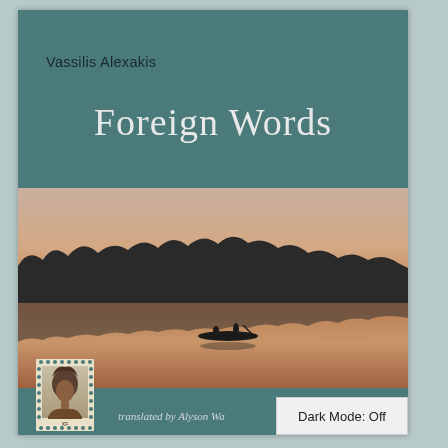Vassilis Alexakis
Foreign Words
[Figure (photo): Photograph of a serene river or lake at dusk/sunset with silhouettes of trees along the horizon and two people in a small canoe/boat on calm water reflecting warm orange-pink tones]
[Figure (photo): Postage stamp depicting a woman with elaborate traditional African hairstyle, labeled with franc value]
translated by Alyson Wa...
Dark Mode: Off